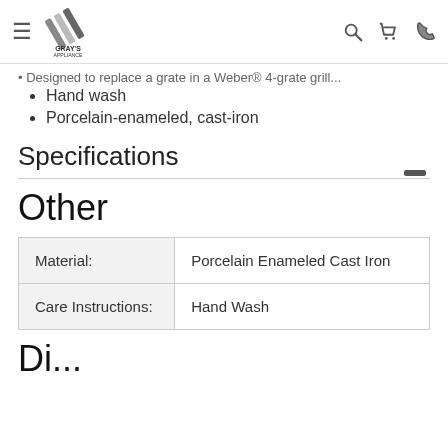Gray's Appliance
Designed to replace a grate in a Weber® 4-grate grill
Hand wash
Porcelain-enameled, cast-iron
Specifications
Other
| Material: | Porcelain Enameled Cast Iron |
| Care Instructions: | Hand Wash |
Di...